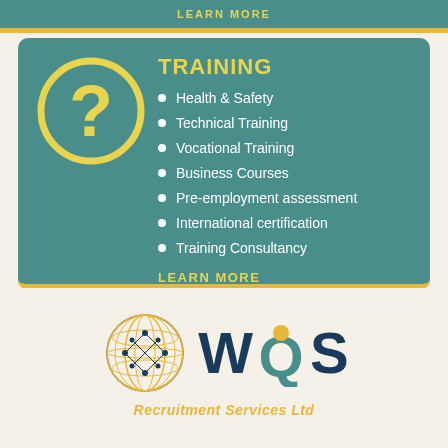LEARN MORE
TRAINING
Health & Safety
Technical Training
Vocational Training
Business Courses
Pre-employment assessment
International certification
Training Consultancy
LEARN MORE
[Figure (logo): WQS Recruitment Services Ltd logo with globe illustration]